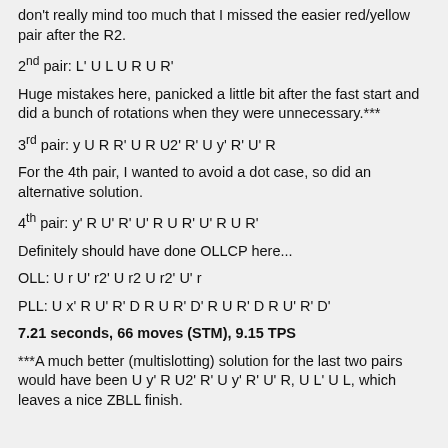don't really mind too much that I missed the easier red/yellow pair after the R2.
2nd pair: L' U L U R U R'
Huge mistakes here, panicked a little bit after the fast start and did a bunch of rotations when they were unnecessary.***
3rd pair: y U R R' U R U2' R' U y' R' U' R
For the 4th pair, I wanted to avoid a dot case, so did an alternative solution.
4th pair: y' R U' R' U' R U R' U' R U R'
Definitely should have done OLLCP here...
OLL: U r U' r2' U r2 U r2' U' r
PLL: U x' R U' R' D R U R' D' R U R' D R U' R' D'
7.21 seconds, 66 moves (STM), 9.15 TPS
***A much better (multislotting) solution for the last two pairs would have been U y' R U2' R' U y' R' U' R, U L' U L, which leaves a nice ZBLL finish.